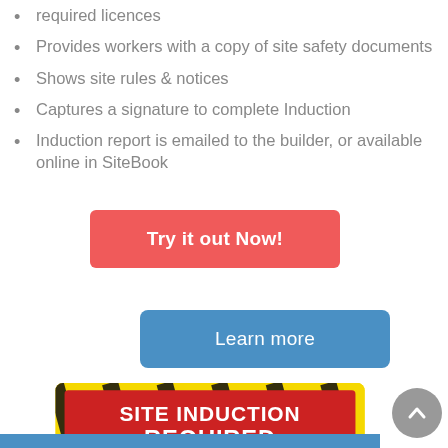required licences
Provides workers with a copy of site safety documents
Shows site rules & notices
Captures a signature to complete Induction
Induction report is emailed to the builder, or available online in SiteBook
[Figure (other): Red button labeled 'Try it out Now!']
[Figure (other): Blue button labeled 'Learn more']
[Figure (other): Site Induction Required sign with yellow and black hazard stripes and a red background reading 'SITE INDUCTION REQUIRED BEFORE ENTERING THIS SITE', along with a circular scroll-up button]